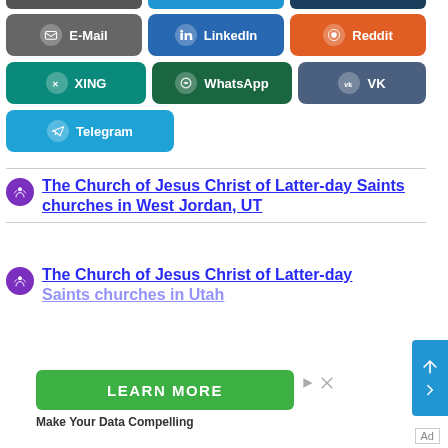[Figure (screenshot): Social media sharing buttons: partially visible top row (gray, blue, dark blue), E-Mail (gray), LinkedIn (blue), Reddit (orange), XING (teal), WhatsApp (dark green), VK (slate blue), Telegram (cyan/blue)]
The Church of Jesus Christ of Latter-day Saints churches in West Jordan, UT
The Church of Jesus Christ of Latter-day Saints churches in Utah
[Figure (screenshot): Green LEARN MORE advertisement button with ad controls]
Make Your Data Compelling
Ad